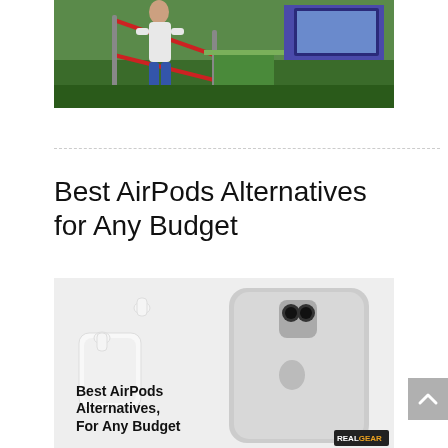[Figure (photo): Person standing at a green gaming display area with red rope barriers and a Ubisoft backdrop at what appears to be a gaming convention or expo.]
Best AirPods Alternatives for Any Budget
[Figure (photo): Promotional image showing AirPods earbuds with charging case next to an iPhone X on a light background, with bold text overlay reading 'Best AirPods Alternatives, For Any Budget' and a RealGear logo in the bottom right corner.]